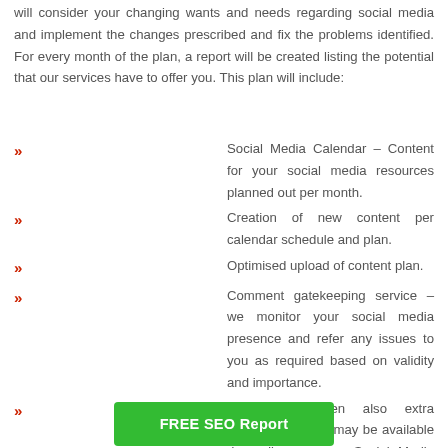will consider your changing wants and needs regarding social media and implement the changes prescribed and fix the problems identified. For every month of the plan, a report will be created listing the potential that our services have to offer you. This plan will include:
Social Media Calendar – Content for your social media resources planned out per month.
Creation of new content per calendar schedule and plan.
Optimised upload of content plan.
Comment gatekeeping service – we monitor your social media presence and refer any issues to you as required based on validity and importance.
There are often also extra opportunities that may be available depending on your Social Media intentions and calendar, these could include.
Partnerships with other sites and joint sharing and promoti... holidays.
Specific... holidays.
[Figure (other): Green button overlay reading 'FREE SEO Report']